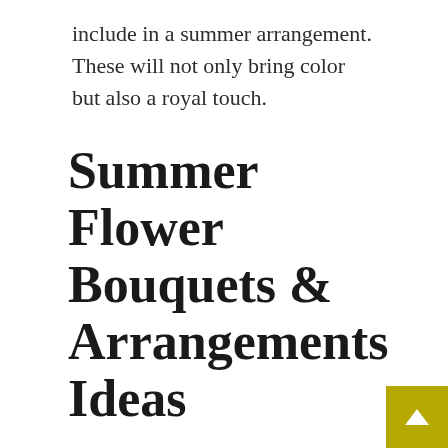include in a summer arrangement. These will not only bring color but also a royal touch.
Summer Flower Bouquets & Arrangements Ideas
For bouquets, soft-hued colored summer wedding bouquet flowers can be included as a gift of affection to the wedding couple. Orchids, gardenias, and ranunculus are some of the best summer flowers that can be added to the arrangement. Add yellow flowers like hellebores roses, tulips, and zinnia to the summer